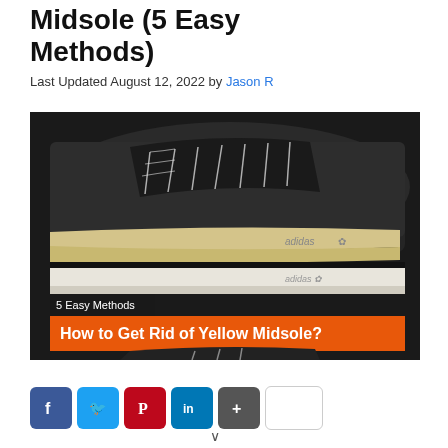Midsole (5 Easy Methods)
Last Updated August 12, 2022 by Jason R
[Figure (photo): Two Adidas sneakers side by side showing midsoles — one yellowed, one white/clean. Image overlay text reads '5 Easy Methods' (dark background) and 'How to Get Rid of Yellow Midsole?' (orange background).]
[Figure (infographic): Social media share buttons: Facebook (blue), Twitter (blue), Pinterest (red), LinkedIn (blue), More (dark blue/grey), and a share count box.]